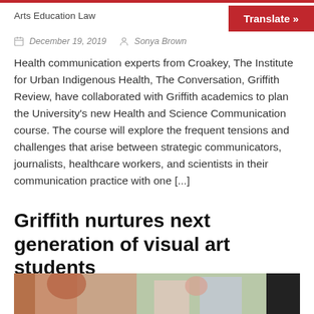Arts Education Law
Translate »
December 19, 2019  Sonya Brown
Health communication experts from Croakey, The Institute for Urban Indigenous Health, The Conversation, Griffith Review, have collaborated with Griffith academics to plan the University's new Health and Science Communication course. The course will explore the frequent tensions and challenges that arise between strategic communicators, journalists, healthcare workers, and scientists in their communication practice with one [...]
Griffith nurtures next generation of visual art students
[Figure (photo): Photo of students working on visual art, including a red-haired student in the foreground and another student with a red hair accessory in the background, with trees visible.]